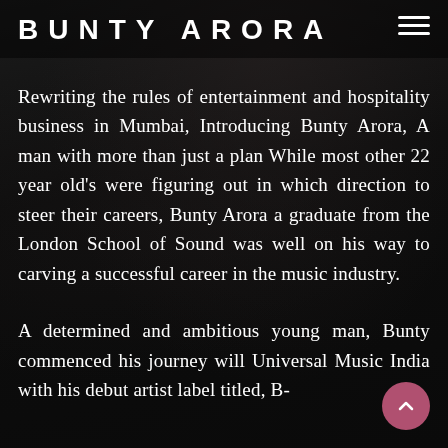BUNTY ARORA
Rewriting the rules of entertainment and hospitality business in Mumbai, Introducing Bunty Arora, A man with more than just a plan While most other 22 year old's were figuring out in which direction to steer their careers, Bunty Arora a graduate from the London School of Sound was well on his way to carving a successful career in the music industry.
A determined and ambitious young man, Bunty commenced his journey will Universal Music India with his debut artist label titled, B-